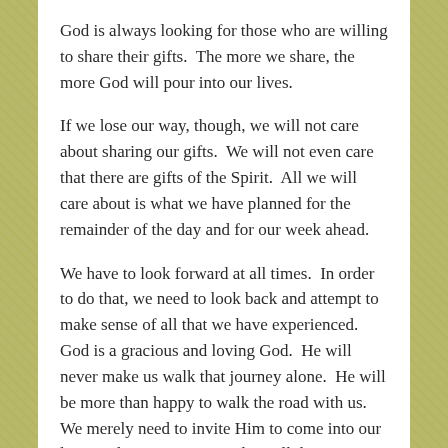God is always looking for those who are willing to share their gifts.  The more we share, the more God will pour into our lives.
If we lose our way, though, we will not care about sharing our gifts.  We will not even care that there are gifts of the Spirit.  All we will care about is what we have planned for the remainder of the day and for our week ahead.
We have to look forward at all times.  In order to do that, we need to look back and attempt to make sense of all that we have experienced.  God is a gracious and loving God.  He will never make us walk that journey alone.  He will be more than happy to walk the road with us.  We merely need to invite Him to come into our lives and open up our minds to all the possibilities He has in store for us.
I understand that we need to revisit our thoughts and…